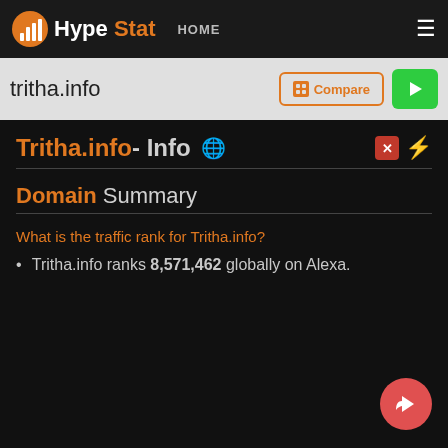HypeStat HOME
tritha.info
Tritha.info - Info
Domain Summary
What is the traffic rank for Tritha.info?
Tritha.info ranks 8,571,462 globally on Alexa.